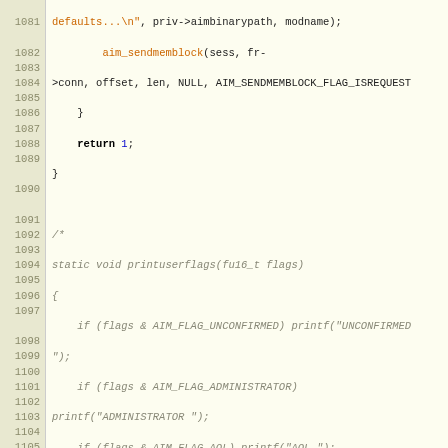[Figure (screenshot): Source code listing showing C code lines 1081-1108, with line numbers on left and syntax-highlighted code on right. Background is light tan/cream. Code includes functions aim_sendmemblock, printuserflags (commented out), and start of faimtest_parse_userinfo.]